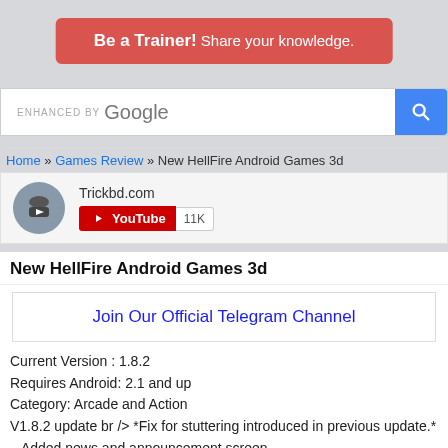[Figure (other): Red banner button with text 'Be a Trainer! Share your knowledge.']
[Figure (other): Google enhanced search bar with blue search button]
Home » Games Review » New HellFire Android Games 3d
[Figure (other): Trickbd.com YouTube channel widget showing 11K subscribers]
New HellFire Android Games 3d
Join Our Official Telegram Channel
Current Version : 1.8.2
Requires Android: 2.1 and up
Category: Arcade and Action
V1.8.2 update br /> *Fix for stuttering introduced in previous update.*
– Added news and announcement screen